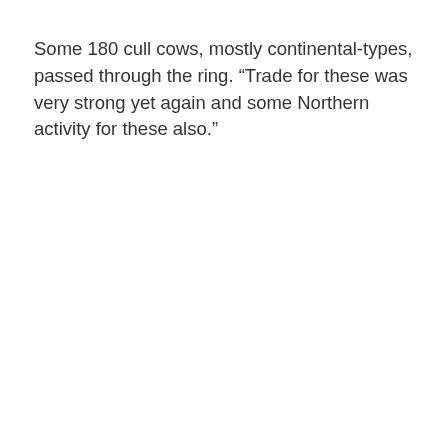Some 180 cull cows, mostly continental-types, passed through the ring. “Trade for these was very strong yet again and some Northern activity for these also.”